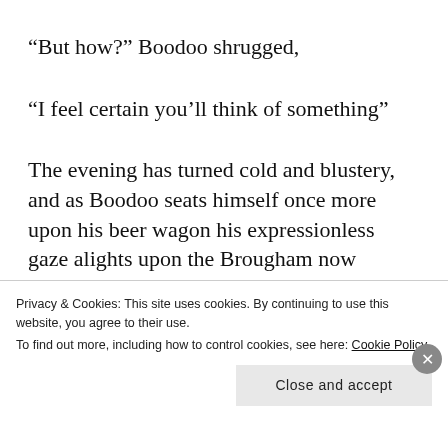“But how?” Boodoo shrugged,
“I feel certain you’ll think of something”
The evening has turned cold and blustery, and as Boodoo seats himself once more upon his beer wagon his expressionless gaze alights upon the Brougham now swiftly exiting the yard of the Bald
Privacy & Cookies: This site uses cookies. By continuing to use this website, you agree to their use.
To find out more, including how to control cookies, see here: Cookie Policy
Close and accept